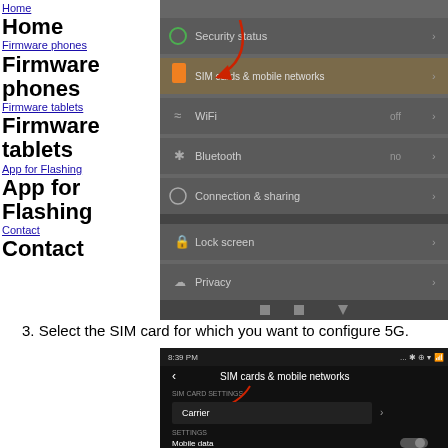Home
Firmware phones
Firmware tablets
App for Flashing
Contact
[Figure (screenshot): Android settings menu screenshot showing Security status, SIM cards & mobile networks (highlighted with red arrow), WiFi, Bluetooth, Connection & sharing, Lock screen, Privacy menu items with navigation bar at bottom]
3. Select the SIM card for which you want to configure 5G.
[Figure (screenshot): Android SIM cards & mobile networks screen showing SIM CARD SETTINGS section with Carrier option (highlighted with red arrow), and SETTINGS section with Mobile data toggle]